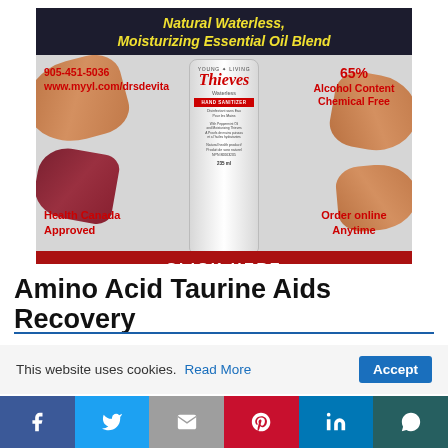[Figure (advertisement): Young Living Thieves Waterless Hand Sanitizer advertisement. Shows product bottle center, hands on left and right. Text: 'Natural Waterless, Moisturizing Essential Oil Blend', '65% Alcohol Content Chemical Free', '905-451-5036 www.myyl.com/drsdevita', 'Health Canada Approved', 'Order online Anytime', 'CLICK HERE' button in red.]
Amino Acid Taurine Aids Recovery
This website uses cookies. Read More Accept